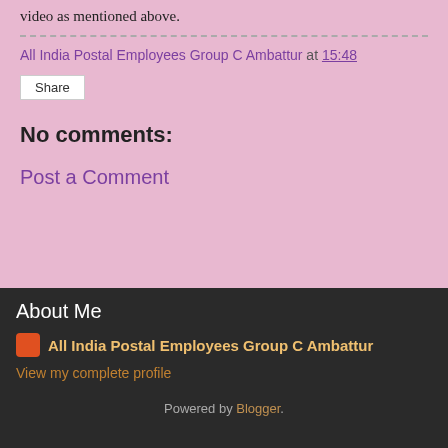video as mentioned above.
All India Postal Employees Group C Ambattur at 15:48
Share
No comments:
Post a Comment
Home
View web version
About Me
All India Postal Employees Group C Ambattur
View my complete profile
Powered by Blogger.